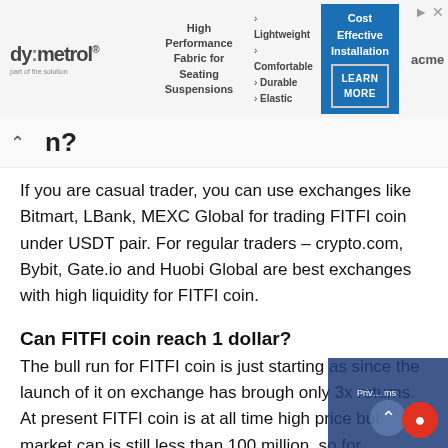[Figure (other): Advertisement banner featuring dymetrol logo with text 'High Performance Fabric for Seating Suspensions', bullet list of features (Lightweight, Comfortable, Durable, Elastic), 'Cost Effective Installation' with 'LEARN MORE' button, and 'acme | mills' brand on right]
n?
If you are casual trader, you can use exchanges like Bitmart, LBank, MEXC Global for trading FITFI coin under USDT pair. For regular traders – crypto.com, Bybit, Gate.io and Huobi Global are best exchanges with high liquidity for FITFI coin.
Can FITFI coin reach 1 dollar?
The bull run for FITFI coin is just starting as since the launch of it on exchange has brough only 3x returns. At present FITFI coin is at all time high price but market cap is still less than 100 million, so for reaching a price of 1 USD – FITFI mark cap should reach close to 200 million. Crossi $1 price for FITFI token is quite realistic in the